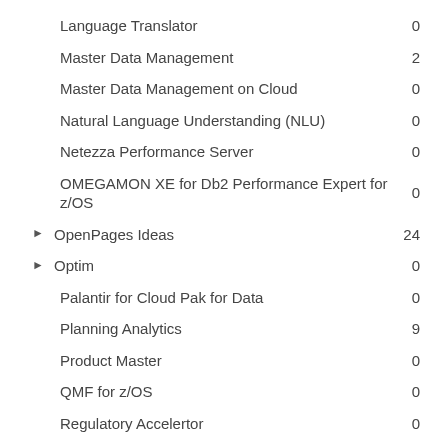Language Translator  0
Master Data Management  2
Master Data Management on Cloud  0
Natural Language Understanding (NLU)  0
Netezza Performance Server  0
OMEGAMON XE for Db2 Performance Expert for z/OS  0
OpenPages Ideas  24
Optim  0
Palantir for Cloud Pak for Data  0
Planning Analytics  9
Product Master  0
QMF for z/OS  0
Regulatory Accelertor  0